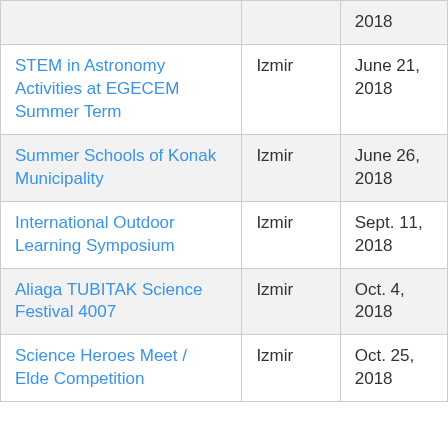| Event | Location | Date |
| --- | --- | --- |
|  |  | 2018 |
| STEM in Astronomy Activities at EGECEM Summer Term | Izmir | June 21, 2018 |
| Summer Schools of Konak Municipality | Izmir | June 26, 2018 |
| International Outdoor Learning Symposium | Izmir | Sept. 11, 2018 |
| Aliaga TUBITAK Science Festival 4007 | Izmir | Oct. 4, 2018 |
| Science Heroes Meet / Elde Competition | Izmir | Oct. 25, 2018 |